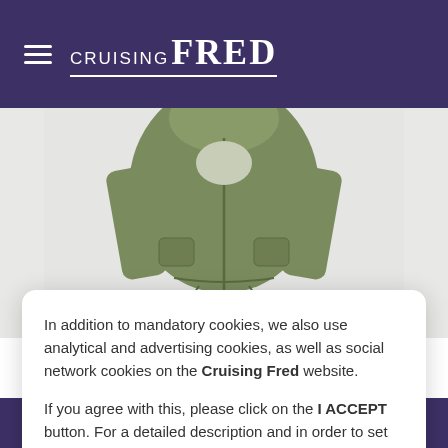CRUISING FRED
[Figure (photo): Olive green sailing jacket/parka product photo on light grey background]
In addition to mandatory cookies, we also use analytical and advertising cookies, as well as social network cookies on the Cruising Fred website.

If you agree with this, please click on the I ACCEPT button. For a detailed description and in order to set the use of individual cookies, click on the COOKIE SETTINGS link.
I accept
Cookie Settings